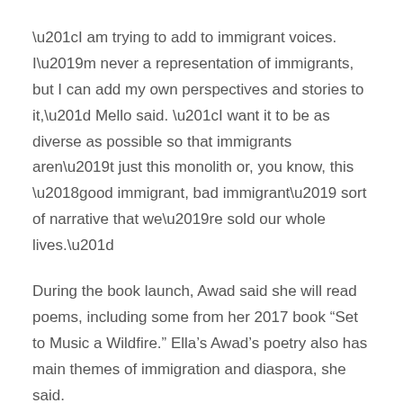“I am trying to add to immigrant voices. I’m never a representation of immigrants, but I can add my own perspectives and stories to it,” Mello said. “I want it to be as diverse as possible so that immigrants aren’t just this monolith or, you know, this ‘good immigrant, bad immigrant’ sort of narrative that we’re sold our whole lives.”
During the book launch, Awad said she will read poems, including some from her 2017 book “Set to Music a Wildfire.” Ella’s Awad’s poetry also has main themes of immigration and diaspora, she said.
“Given the subject matter, especially with my first book — which largely focuses on my father’s experiences while growing up in Tripoli, Lebanon, during the Lebanese Civil War — I think that we have a lot of common ground as far as exploring those topics in poetry,” Awad said.